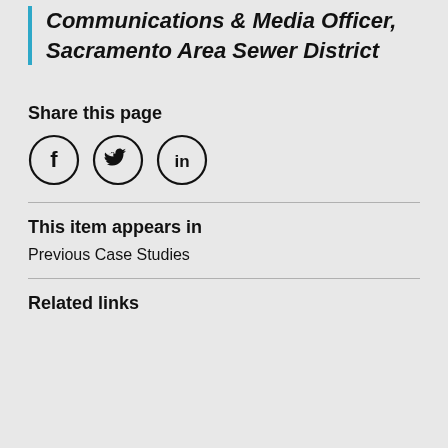Communications & Media Officer, Sacramento Area Sewer District
Share this page
[Figure (other): Social media share icons: Facebook (f), Twitter (bird), LinkedIn (in) as circle outline buttons]
This item appears in
Previous Case Studies
Related links